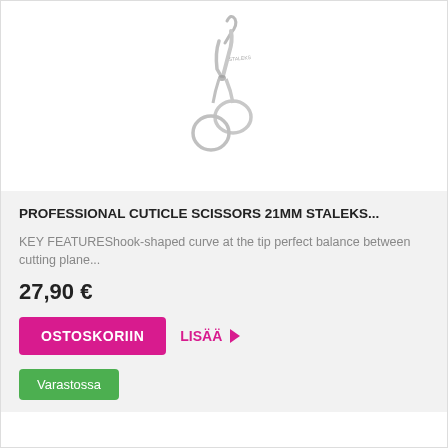[Figure (photo): Product photo of professional cuticle scissors, silver/chrome colored, with hooked curved blades and two round finger loops, shown on white background]
PROFESSIONAL CUTICLE SCISSORS 21MM STALEKS...
KEY FEATUREShook-shaped curve at the tip perfect balance between cutting plane...
27,90 €
OSTOSKORIIN  LISÄÄ
Varastossa